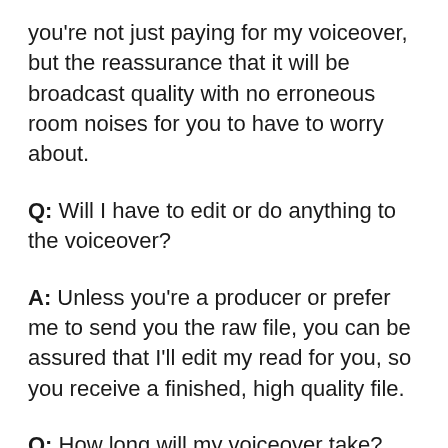you're not just paying for my voiceover, but the reassurance that it will be broadcast quality with no erroneous room noises for you to have to worry about.
Q: Will I have to edit or do anything to the voiceover?
A: Unless you're a producer or prefer me to send you the raw file, you can be assured that I'll edit my read for you, so you receive a finished, high quality file.
Q: How long will my voiceover take?
A: I pride myself on a fast turnaround and